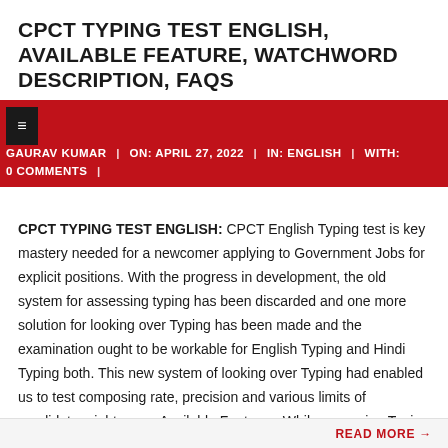CPCT TYPING TEST ENGLISH, AVAILABLE FEATURE, WATCHWORD DESCRIPTION, FAQS
GAURAV KUMAR | ON: APRIL 27, 2022 | IN: ENGLISH | WITH: 0 COMMENTS |
CPCT TYPING TEST ENGLISH: CPCT English Typing test is key mastery needed for a newcomer applying to Government Jobs for explicit positions. With the progress in development, the old system for assessing typing has been discarded and one more solution for looking over Typing has been made and the examination ought to be workable for English Typing and Hindi Typing both. This new system of looking over Typing had enabled us to test composing rate, precision and various limits of candidates right away. Available Features: While assessing Typing with the reference content gave: Just a single composing test type question will be open to the
READ MORE →